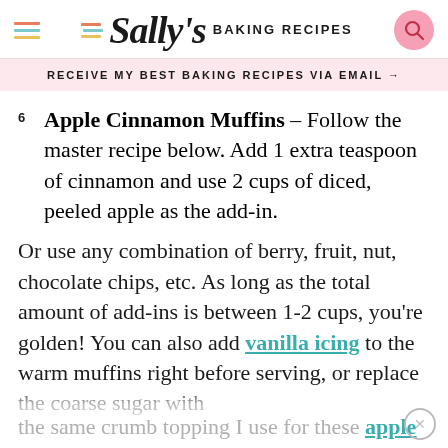Sally's BAKING RECIPES
RECEIVE MY BEST BAKING RECIPES VIA EMAIL →
6 Apple Cinnamon Muffins – Follow the master recipe below. Add 1 extra teaspoon of cinnamon and use 2 cups of diced, peeled apple as the add-in.
Or use any combination of berry, fruit, nut, chocolate chips, etc. As long as the total amount of add-ins is between 1-2 cups, you're golden! You can also add vanilla icing to the warm muffins right before serving, or replace the coarse sugar with the same crumb topping I use for these apple
the same crumb topping I use for these apple